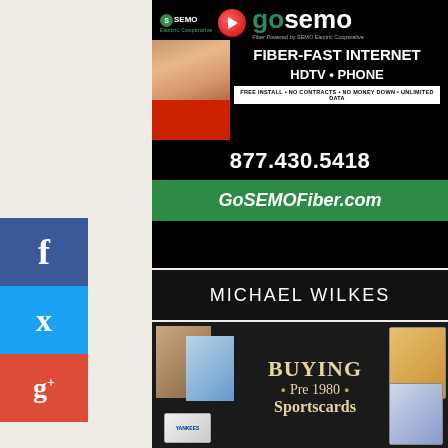[Figure (advertisement): GoSEMO Fiber advertisement with logo, woman in red shirt, text: FIBER-FAST INTERNET HDTV PHONE, FREE INSTALL NO CONTRACTS NO MONEY DOWN UNLIMITED DATA, phone number 877.430.5418, website GoSEMOFiber.com. Black background with green banner at bottom.]
[Figure (advertisement): Michael Wilkes advertisement header bar with white text on black background reading MICHAEL WILKES]
[Figure (advertisement): Michael Wilkes buying Pre 1980 Sportscards advertisement with vintage sports cards images on dark background]
[Figure (other): Social media sidebar with Facebook (blue), Twitter (light blue), and Google+ (red) icons on left side of page]